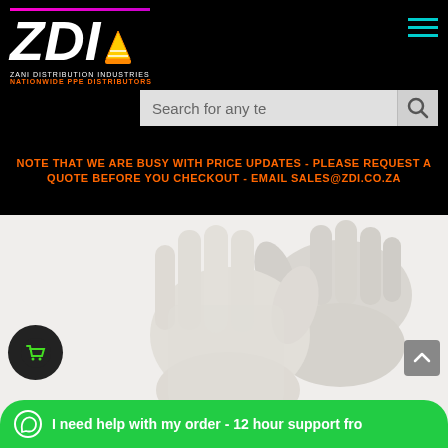[Figure (logo): ZDI - Zani Distribution Industries logo with magenta accent line, white ZDI text, orange NATIONWIDE PPE DISTRIBUTORS tagline, construction cone icon, on black background]
[Figure (screenshot): Hamburger menu icon (three teal horizontal lines) in top right corner]
[Figure (screenshot): Search bar with placeholder text 'Search for any te' and magnifying glass icon]
NOTE THAT WE ARE BUSY WITH PRICE UPDATES - PLEASE REQUEST A QUOTE BEFORE YOU CHECKOUT - EMAIL SALES@ZDI.CO.ZA
[Figure (photo): Close-up photo of two white nylon/polyester knitted safety gloves with black cuffs against white background]
[Figure (screenshot): Dark circular shopping cart button with green cart icon, bottom left]
[Figure (screenshot): Gray scroll-to-top button with upward arrow, bottom right]
I need help with my order - 12 hour support fro